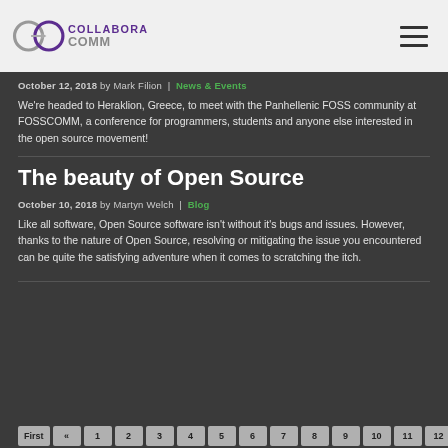COLLABORA
October 12, 2018 by Mark Filion | News & Events
We're headed to Heraklion, Greece, to meet with the Panhellenic FOSS community at FOSSCOMM, a conference for programmers, students and anyone else interested in the open source movement!
The beauty of Open Source
October 10, 2018 by Martyn Welch | Blog
Like all software, Open Source software isn't without it's bugs and issues. However, thanks to the nature of Open Source, resolving or mitigating the issue you encountered can be quite the satisfying adventure when it comes to scratching the itch.
First « 1 2 3 4 5 6 7 8 9 10 11 12 13